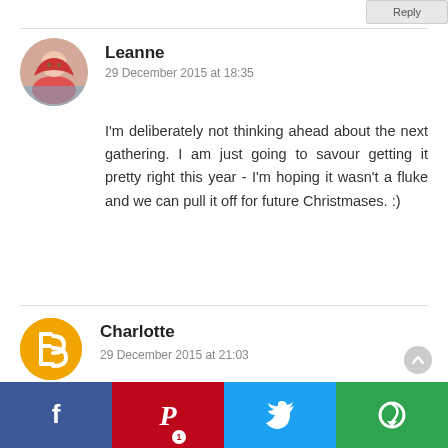[Figure (screenshot): Blog comment section screenshot showing two comments and a social sharing bar at the bottom]
Leanne
29 December 2015 at 18:35
I'm deliberately not thinking ahead about the next gathering. I am just going to savour getting it pretty right this year - I'm hoping it wasn't a fluke and we can pull it off for future Christmases. :)
Charlotte
29 December 2015 at 21:03
it's so hard around the holidays to adjust what you want to happen over what is realistic - I am guilty of sending my expectations into fairy land over the holidays but you